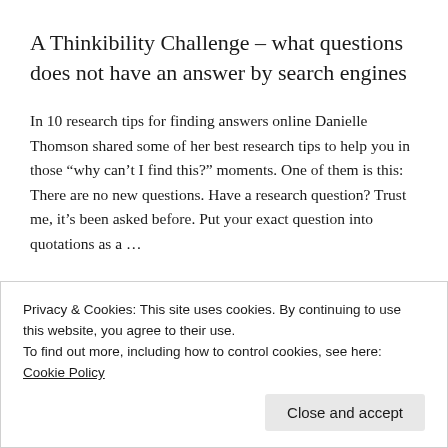A Thinkibility Challenge – what questions does not have an answer by search engines
In 10 research tips for finding answers online Danielle Thomson shared some of her best research tips to help you in those “why can’t I find this?” moments. One of them is this: There are no new questions. Have a research question? Trust me, it’s been asked before. Put your exact question into quotations as a …
Privacy & Cookies: This site uses cookies. By continuing to use this website, you agree to their use.
To find out more, including how to control cookies, see here: Cookie Policy